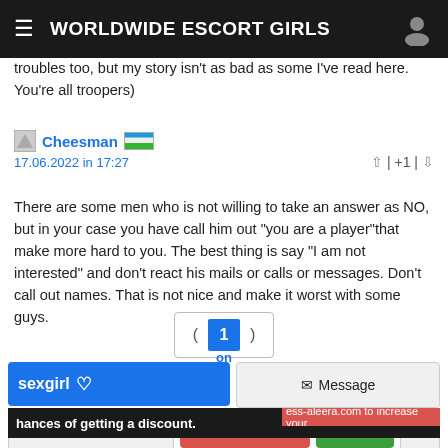WORLDWIDE ESCORT GIRLS
troubles too, but my story isn't as bad as some I've read here. You're all troopers)
Cheesman  17.06.2022 in 17:27  | +1 |
There are some men who is not willing to take an answer as NO, but in your case you have call him out "you are a player"that make more hard to you. The best thing is say "I am not interested" and don't react his mails or calls or messages. Don't call out names. That is not nice and make it worst with some guys.
( 1 )
sexgirl  Message  Review  Report
ess-aleera.com to increase your  hances of getting a discount.
Call